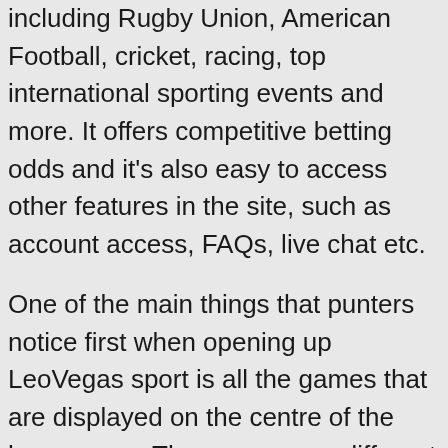including Rugby Union, American Football, cricket, racing, top international sporting events and more. It offers competitive betting odds and it's also easy to access other features in the site, such as account access, FAQs, live chat etc.
One of the main things that punters notice first when opening up LeoVegas sport is all the games that are displayed on the centre of the home page. There are many different games that are featured, in the casino section, ranging from blackjack, poker, online slots, table games and many more! Another fantastic feature that plenty of punters love when on the LeoVegas sport app is all of the animations and images which have clearly been developed to an exceptionally high standard and they also come in a variety of colours